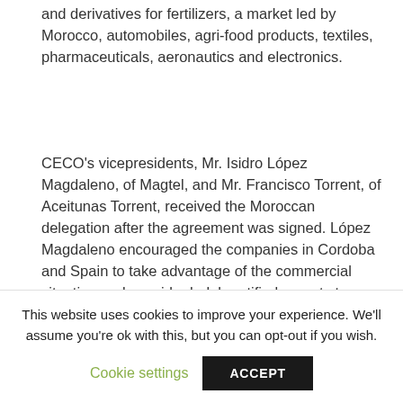and derivatives for fertilizers, a market led by Morocco, automobiles, agri-food products, textiles, pharmaceuticals, aeronautics and electronics.
CECO's vicepresidents, Mr. Isidro López Magdaleno, of Magtel, and Mr. Francisco Torrent, of Aceitunas Torrent, received the Moroccan delegation after the agreement was signed. López Magdaleno encouraged the companies in Cordoba and Spain to take advantage of the commercial situation and consider halal-certified exports to our neighbour.
Official visit
Instituto Halal has received the visit of a delegation of IMANOR (the Moroccan Standardization Organization)
This website uses cookies to improve your experience. We'll assume you're ok with this, but you can opt-out if you wish.